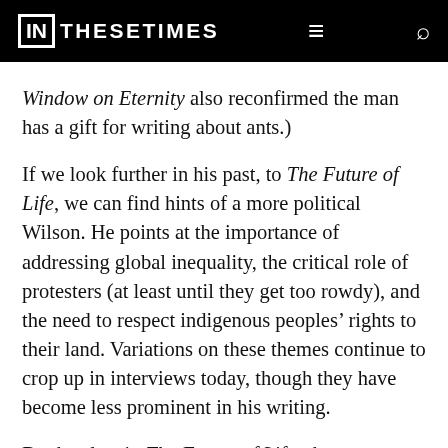IN THESE TIMES
Window on Eternity also reconfirmed the man has a gift for writing about ants.)
If we look further in his past, to The Future of Life, we can find hints of a more political Wilson. He points at the importance of addressing global inequality, the critical role of protesters (at least until they get too rowdy), and the need to respect indigenous peoples' rights to their land. Variations on these themes continue to crop up in interviews today, though they have become less prominent in his writing.
But he also, in The Future of Life, shows an instinctive distaste for any divisiveness, chastising both environmentalists and their "people-first critics" for